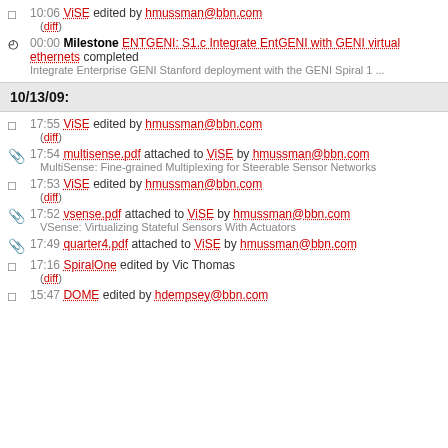10:06 ViSE edited by hmussman@bbn.com (diff)
00:00 Milestone ENTGENI: S1.c Integrate EntGENI with GENI virtual ethernets completed
Integrate Enterprise GENI Stanford deployment with the GENI Spiral 1 ...
10/13/09:
17:55 ViSE edited by hmussman@bbn.com (diff)
17:54 multisense.pdf attached to ViSE by hmussman@bbn.com
MultiSense: Fine-grained Multiplexing for Steerable Sensor Networks
17:53 ViSE edited by hmussman@bbn.com (diff)
17:52 vsense.pdf attached to ViSE by hmussman@bbn.com
VSense: Virtualizing Stateful Sensors With Actuators
17:49 quarter4.pdf attached to ViSE by hmussman@bbn.com
17:16 SpiralOne edited by Vic Thomas (diff)
15:47 DOME edited by hdempsey@bbn.com